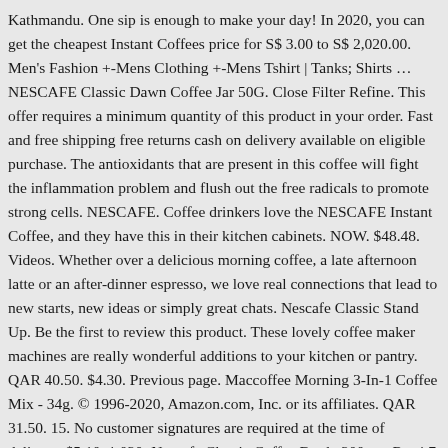Kathmandu. One sip is enough to make your day! In 2020, you can get the cheapest Instant Coffees price for S$ 3.00 to S$ 2,020.00. Men's Fashion +-Mens Clothing +-Mens Tshirt | Tanks; Shirts ... NESCAFE Classic Dawn Coffee Jar 50G. Close Filter Refine. This offer requires a minimum quantity of this product in your order. Fast and free shipping free returns cash on delivery available on eligible purchase. The antioxidants that are present in this coffee will fight the inflammation problem and flush out the free radicals to promote strong cells. NESCAFE. Coffee drinkers love the NESCAFE Instant Coffee, and they have this in their kitchen cabinets. NOW. $48.48. Videos. Whether over a delicious morning coffee, a late afternoon latte or an after-dinner espresso, we love real connections that lead to new starts, new ideas or simply great chats. Nescafe Classic Stand Up. Be the first to review this product. These lovely coffee maker machines are really wonderful additions to your kitchen or pantry. QAR 40.50. $4.30. Previous page. Maccoffee Morning 3-In-1 Coffee Mix - 34g. © 1996-2020, Amazon.com, Inc. or its affiliates. QAR 31.50. 15. No customer signatures are required at the time of delivery. $5.10. 1,020: Nescafe Classic Coffee Bottle 200gm: Rs. 4.7 out of 5 (23) Add To Cart. Our payment security system encrypts your information during transmission. Close Filter Refine. Lavazza Caffe Espresso 250g. Any 2 © $11.95. Be the first to review this product. They sell it by online...